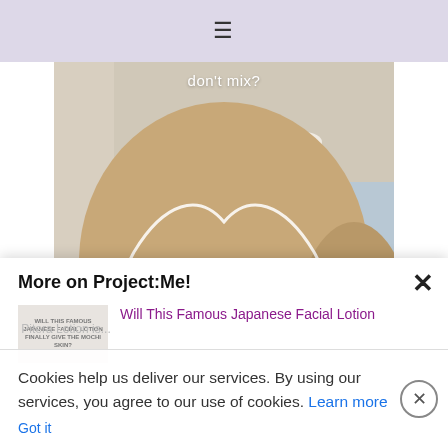≡
[Figure (photo): A person wearing a blue surgical mask with a heart outline overlaid on the photo and the text 'don't mix?' at the top]
More on Project:Me!
Will This Famous Japanese Facial Lotion
Cookies help us deliver our services. By using our services, you agree to our use of cookies. Learn more   Got it